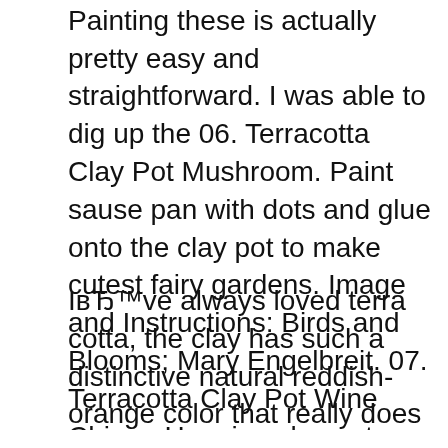look. These are funny. Painting these is actually pretty easy and straightforward. I was able to dig up the 06. Terracotta Clay Pot Mushroom. Paint sause pan with dots and glue onto the clay pot to make cutest fairy gardens. Image and Instructions: Birds and Blooms; Mary Engelbreit. 07. Terracotta Clay Pot Wine Chime. Hanging clay pots can also be fun as these. Image and Instructions: Decor Art / Buttinette Blog. 08. Terracotta Clay Pot People Planter
IвЂ™ve always loved terra cotta, the clay has such a distinctive natural reddish-orange color that really does make it look like itвЂ™s from the earth. Here we suggest you to start with a